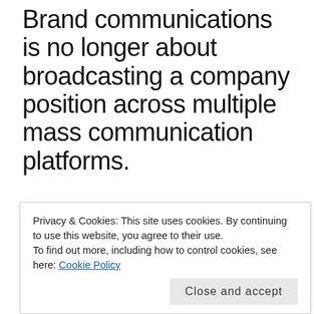Brand communications is no longer about broadcasting a company position across multiple mass communication platforms.
PUBLISHED ON 31/03/2011
1 Comment
[Figure (other): Star rating widget showing 4 stars (4.5 out of 5) with an info icon and '4 Votes' label]
Privacy & Cookies: This site uses cookies. By continuing to use this website, you agree to their use. To find out more, including how to control cookies, see here: Cookie Policy
Close and accept
success of a brand is in the hands of the consumer not the